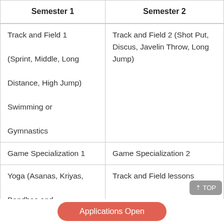| Semester 1 | Semester 2 |
| --- | --- |
| Track and Field 1 (Sprint, Middle, Long Distance, High Jump)
Swimming or Gymnastics | Track and Field 2 (Shot Put, Discus, Javelin Throw, Long Jump) |
| Game Specialization 1 | Game Specialization 2 |
| Yoga (Asanas, Kriyas, Bandhas and Pranayama) | Track and Field lessons |
| Theory on Sports and ... | Specialization 2 |
Applications Open